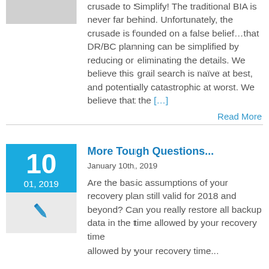crusade to Simplify! The traditional BIA is never far behind. Unfortunately, the crusade is founded on a false belief…that DR/BC planning can be simplified by reducing or eliminating the details. We believe this grail search is naïve at best, and potentially catastrophic at worst. We believe that the […]
Read More
More Tough Questions...
January 10th, 2019
Are the basic assumptions of your recovery plan still valid for 2018 and beyond? Can you really restore all backup data in the time allowed by your recovery time...